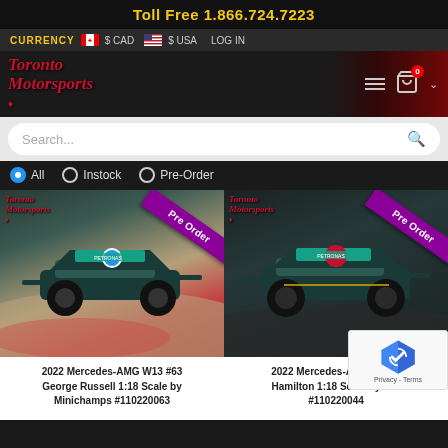Toll Free 1.866.724.7223
CURRENCY $ CAD $ USA LOG IN
[Figure (logo): Toronto Motorsports logo with red maple leaf and script text]
Search...
All (selected)
Instock
Pre-Order
[Figure (photo): 2022 Mercedes-AMG W13 #63 George Russell F1 car on track, Pre Order ribbon, Toronto Motorsports logo]
[Figure (photo): 2022 Mercedes-AMG W13 #44 Lewis Hamilton F1 car on dark background, Pre Order ribbon, Toronto Motorsports logo]
2022 Mercedes-AMG W13 #63 George Russell 1:18 Scale by Minichamps #110220063
2022 Mercedes-AMG W13 #44 Hamilton 1:18 Scale by Minichamps #110220044